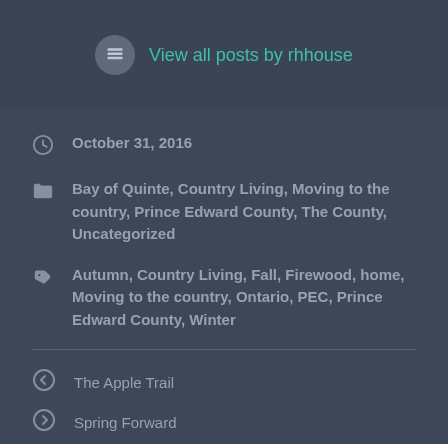View all posts by rhhouse
October 31, 2016
Bay of Quinte, Country Living, Moving to the country, Prince Edward County, The County, Uncategorized
Autumn, Country Living, Fall, Firewood, home, Moving to the country, Ontario, PEC, Prince Edward County, Winter
The Apple Trail
Spring Forward
2 thoughts on “The 9-1-1”